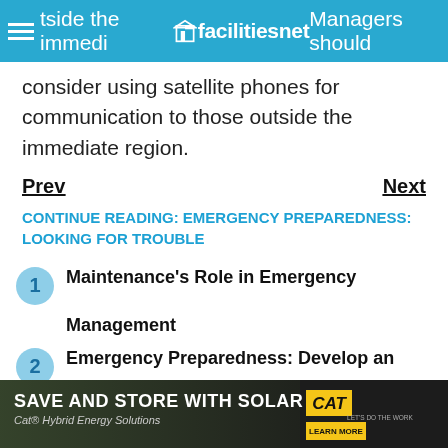facilitiesnet — outside the immediate region. Managers should
consider using satellite phones for communication to those outside the immediate region.
Prev    Next
CONTINUE READING: EMERGENCY PREPAREDNESS: LOOKING FOR TROUBLE
1 Maintenance's Role in Emergency Management
2 Emergency Preparedness: Develop an Operations Matrix
[Figure (photo): CAT Solar advertisement banner: SAVE AND STORE WITH SOLAR, Cat Hybrid Energy Solutions, Learn More button]